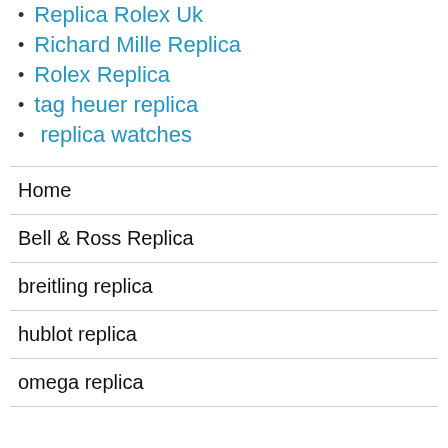Replica Rolex Uk
Richard Mille Replica
Rolex Replica
tag heuer replica
replica watches
Home
Bell & Ross Replica
breitling replica
hublot replica
omega replica